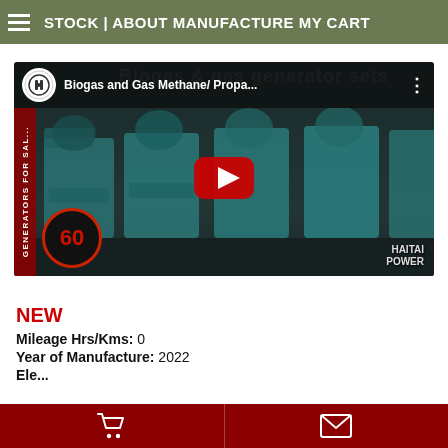STOCK | ABOUT MANUFACTURE MY CART
[Figure (screenshot): YouTube video thumbnail showing 'Biogas and Gas Methane/ Propa...' with generator sets in the background, a play button, number 60 badge, HAITAI POWER watermark, and red side text.]
NEW
Mileage Hrs/Kms: 0
Year of Manufacture: 2022
Cart | Mail